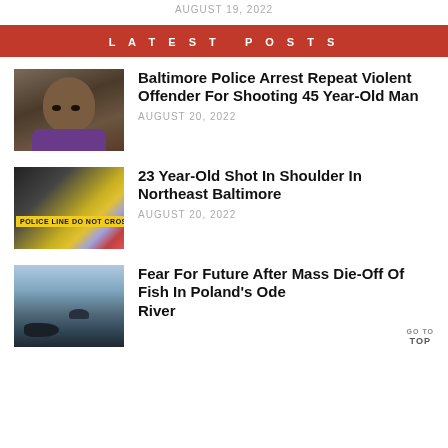AUGUST 19, 2022
LATEST POSTS
Baltimore Police Arrest Repeat Violent Offender For Shooting 45 Year-Old Man
AUGUST 20, 2022
23 Year-Old Shot In Shoulder In Northeast Baltimore
AUGUST 20, 2022
Fear For Future After Mass Die-Off Of Fish In Poland's Ode River